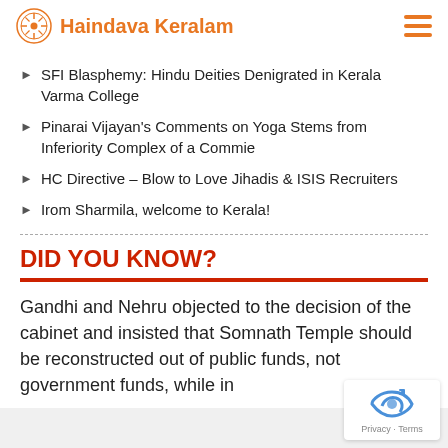Haindava Keralam
SFI Blasphemy: Hindu Deities Denigrated in Kerala Varma College
Pinarai Vijayan's Comments on Yoga Stems from Inferiority Complex of a Commie
HC Directive – Blow to Love Jihadis & ISIS Recruiters
Irom Sharmila, welcome to Kerala!
DID YOU KNOW?
Gandhi and Nehru objected to the decision of the cabinet and insisted that Somnath Temple should be reconstructed out of public funds, not government funds, while in